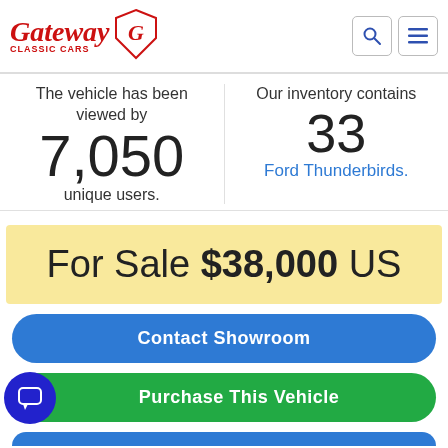Gateway Classic Cars
The vehicle has been viewed by 7,050 unique users.
Our inventory contains 33 Ford Thunderbirds.
For Sale $38,000 US
Contact Showroom
Purchase This Vehicle